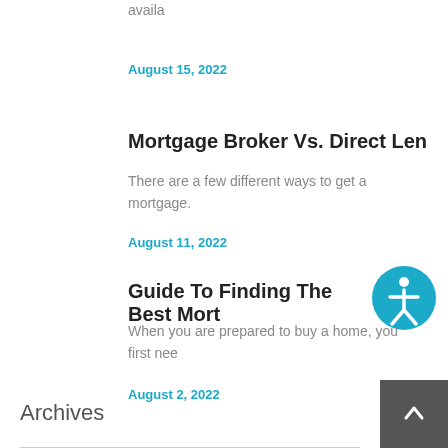availa
August 15, 2022
Mortgage Broker Vs. Direct Len
There are a few different ways to get a mortgage.
August 11, 2022
Guide To Finding The Best Mort
When you are prepared to buy a home, you first nee
August 2, 2022
Archives